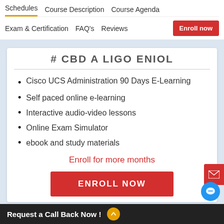Schedules  Course Description  Course Agenda  Exam & Certification  FAQ's  Reviews  Enroll now
# CBD A LIGO ENIOL
Cisco UCS Administration 90 Days E-Learning
Self paced online e-learning
Interactive audio-video lessons
Online Exam Simulator
ebook and study materials
Enroll for more months
ENROLL NOW
Request a Call Back Now !